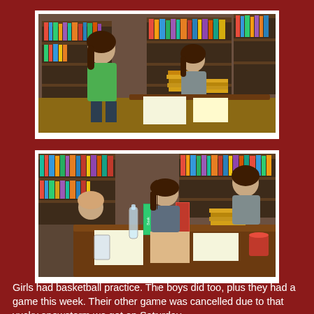[Figure (photo): Two girls in a room surrounded by bookshelves, with stacks of books on the floor. One girl is standing wearing a green hoodie, another is seated at a table looking at books.]
[Figure (photo): Three children seated at a table covered with books and items, surrounded by bookshelves. They appear to be sorting or organizing books.]
Girls had basketball practice.  The boys did too, plus they had a game this week.  Their other game was cancelled due to that yucky snowstorm we got on Saturday.